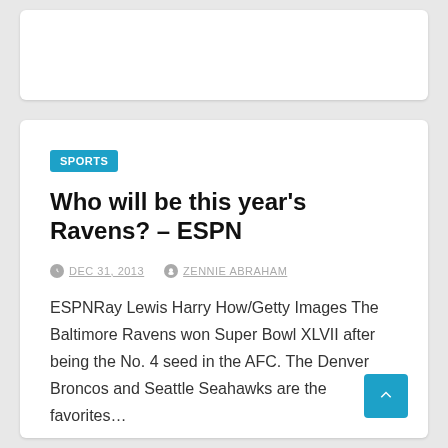SPORTS
Who will be this year’s Ravens? – ESPN
DEC 31, 2013   ZENNIE ABRAHAM
ESPNRay Lewis Harry How/Getty Images The Baltimore Ravens won Super Bowl XLVII after being the No. 4 seed in the AFC. The Denver Broncos and Seattle Seahawks are the favorites…